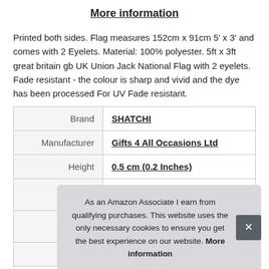More information
Printed both sides. Flag measures 152cm x 91cm 5' x 3' and comes with 2 Eyelets. Material: 100% polyester. 5ft x 3ft great britain gb UK Union Jack National Flag with 2 eyelets. Fade resistant - the colour is sharp and vivid and the dye has been processed For UV Fade resistant.
|  |  |
| --- | --- |
| Brand | SHATCHI |
| Manufacturer | Gifts 4 All Occasions Ltd |
| Height | 0.5 cm (0.2 Inches) |
| P... |  |
As an Amazon Associate I earn from qualifying purchases. This website uses the only necessary cookies to ensure you get the best experience on our website. More information